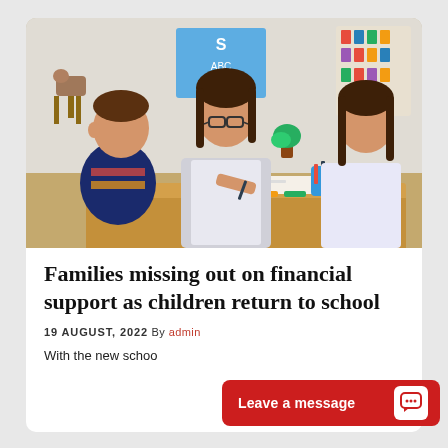[Figure (photo): A female teacher with glasses wearing a white top sits between two young children at a classroom table. They are drawing or writing together. A blue pencil cup is on the table. Colorful educational posters are visible on the wall in the background.]
Families missing out on financial support as children return to school
19 AUGUST, 2022 By admin
With the new schoo